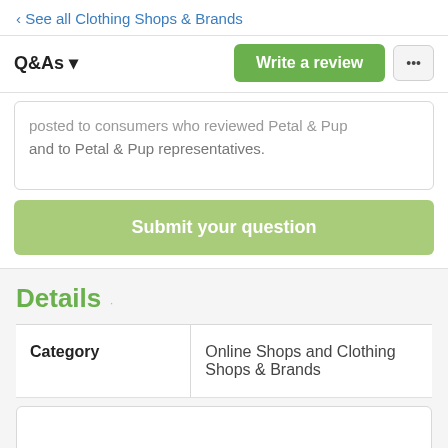‹ See all Clothing Shops & Brands
Q&As ▾
Write a review
...
posted to consumers who reviewed Petal & Pup and to Petal & Pup representatives.
Submit your question
Details
| Category |  |
| --- | --- |
| Category | Online Shops and Clothing Shops & Brands |